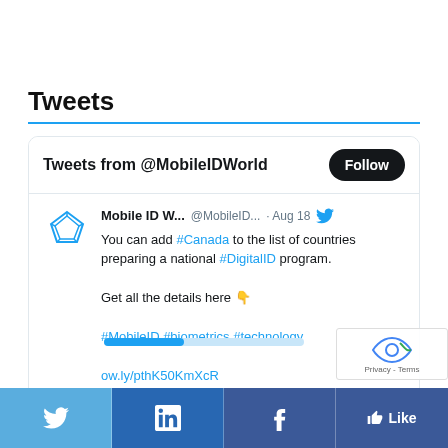Tweets
Tweets from @MobileIDWorld
Mobile ID W... @MobileID... · Aug 18
You can add #Canada to the list of countries preparing a national #DigitalID program.

Get all the details here 👇

#MobileID #biometrics #technology

ow.ly/pthK50KmXcR
Twitter | LinkedIn | Facebook | Like